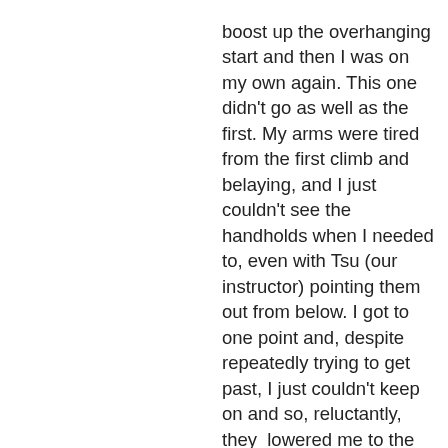boost up the overhanging start and then I was on my own again. This one didn't go as well as the first. My arms were tired from the first climb and belaying, and I just couldn't see the handholds when I needed to, even with Tsu (our instructor) pointing them out from below. I got to one point and, despite repeatedly trying to get past, I just couldn't keep on and so, reluctantly, they lowered me to the ground. This time, instead of high fives all round, it was the 'nice try' handshake...not the same at all and I was disappointed.

My observation of climbing in the past was that there always seemed to be a lot of hanging around involved. I had seen groups of climbers all lounging around under a rock face, faces tilted up watching one or two climbers above